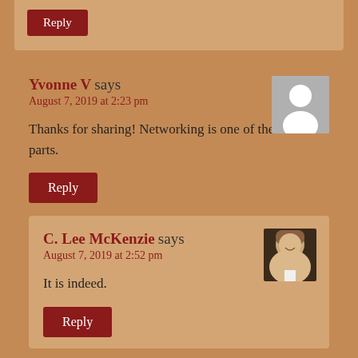Reply
Yvonne V says
August 7, 2019 at 2:23 pm
Thanks for sharing! Networking is one of the hardest parts.
Reply
C. Lee McKenzie says
August 7, 2019 at 2:52 pm
It is indeed.
Reply